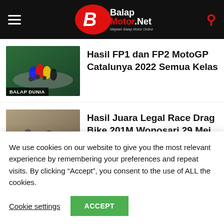BaLapMotor.Net — Majalah Balap Motor Online
[Figure (photo): MotoGP Catalunya race photo with motorcycles on track, labelled BALAP DUNIA]
Hasil FP1 dan FP2 MotoGP Catalunya 2022 Semua Kelas
[Figure (photo): Drag bike race photo with motorcycles on track, labelled DRAG]
Hasil Juara Legal Race Drag Bike 201M Wonosari 29 Mei 2022
[Figure (photo): MotoGP Italia race photo with Tissot branding visible]
Hasil Kualifikasi MotoGP Italia 2022
We use cookies on our website to give you the most relevant experience by remembering your preferences and repeat visits. By clicking “Accept”, you consent to the use of ALL the cookies.
Cookie settings
ACCEPT